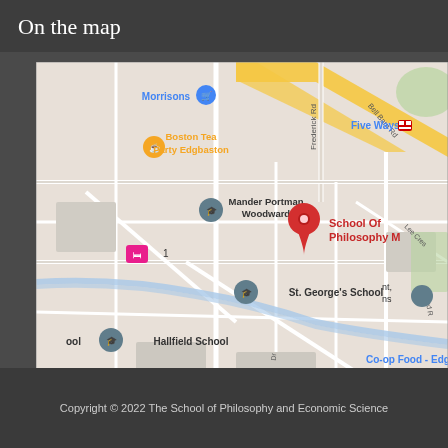On the map
[Figure (map): Google Maps screenshot showing the area around School of Philosophy M in Edgbaston, Birmingham, UK. Notable landmarks include Morrisons, Boston Tea Party Edgbaston, Five Ways (train station), Mander Portman Woodward, St. George's School, Hallfield School, Co-op Food - Edgbaston. Roads visible include Frederick Rd, Bell Barn Rd, Lee Crescent, Ryland Rd. A red pin marks School Of Philosophy M.]
Copyright © 2022 The School of Philosophy and Economic Science